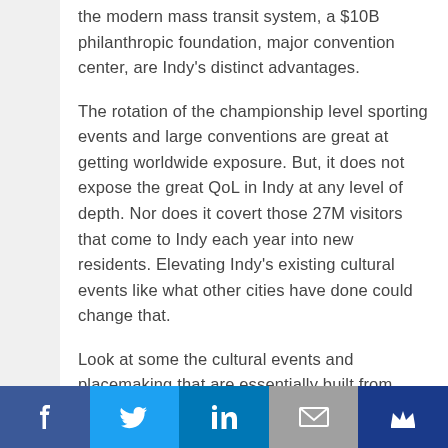the modern mass transit system, a $10B philanthropic foundation, major convention center, are Indy's distinct advantages.
The rotation of the championship level sporting events and large conventions are great at getting worldwide exposure. But, it does not expose the great QoL in Indy at any level of depth. Nor does it covert those 27M visitors that come to Indy each year into new residents. Elevating Indy's existing cultural events like what other cities have done could change that.
Look at some the cultural events and placemaking that are essentially built from
Facebook Twitter LinkedIn Email Crown